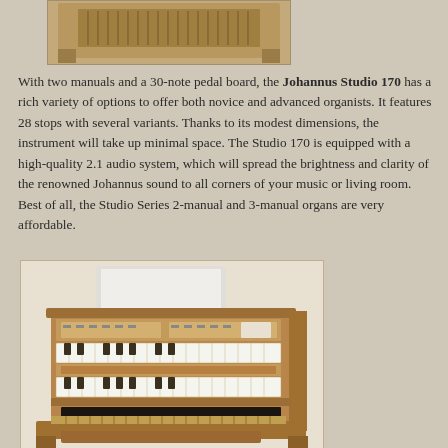[Figure (photo): Top portion of a Johannus Studio 170 organ console showing the top cabinet with pipes/vents]
With two manuals and a 30-note pedal board, the Johannus Studio 170 has a rich variety of options to offer both novice and advanced organists. It features 28 stops with several variants. Thanks to its modest dimensions, the instrument will take up minimal space. The Studio 170 is equipped with a high-quality 2.1 audio system, which will spread the brightness and clarity of the renowned Johannus sound to all corners of your music or living room.  Best of all, the Studio Series 2-manual and 3-manual organs are very affordable.
[Figure (photo): Full front view of the Johannus Studio 170 organ console with two manuals, stop controls, and pedal board, in wooden cabinet]